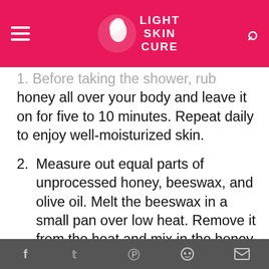Light Skin Cure
1. Before taking the shower, rub honey all over your body and leave it on for five to 10 minutes. Repeat daily to enjoy well-moisturized skin.
2. Measure out equal parts of unprocessed honey, beeswax, and olive oil. Melt the beeswax in a small pan over low heat. Remove it from the heat and mix in the honey and then the olive oil. Apply this mixture all over your body and leave it on for
f  t  p  reddit  mail